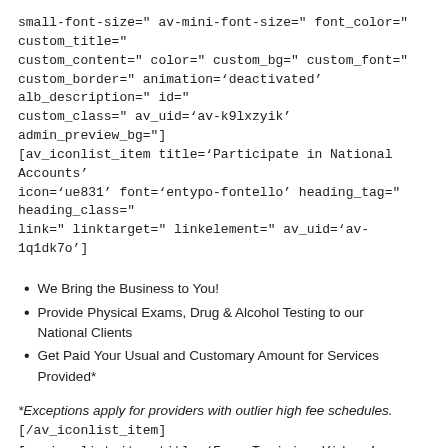small-font-size=" av-mini-font-size=" font_color=" custom_title=" custom_content=" color=" custom_bg=" custom_font=" custom_border=" animation='deactivated' alb_description=" id=" custom_class=" av_uid='av-k9lxzyik' admin_preview_bg="] [av_iconlist_item title='Participate in National Accounts' icon='ue831' font='entypo-fontello' heading_tag=" heading_class=" link=" linktarget=" linkelement=" av_uid='av-1q1dk7o']
We Bring the Business to You!
Provide Physical Exams, Drug & Alcohol Testing to our National Clients
Get Paid Your Usual and Customary Amount for Services Provided*
*Exceptions apply for providers with outlier high fee schedules.
[/av_iconlist_item]
[av_iconlist_item title='Free Training Videos' icon='ue8c9' font='entypo-fontello' heading_tag=" heading_class=" link=" linktarget=" linkelement=" av_uid='av-2zbzj9g']
Videos include:
Full NRCME Training